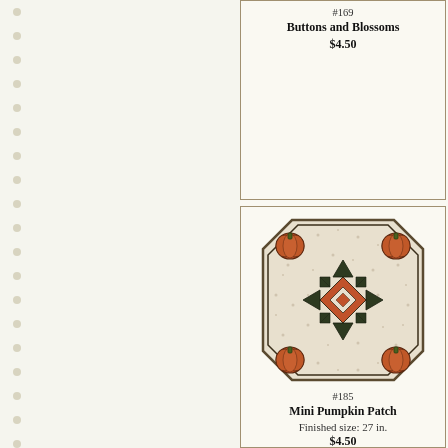#169
Buttons and Blossoms
$4.50
[Figure (illustration): Octagonal quilt pattern with pumpkins at corners and geometric star center in rust, brown, and cream — Mini Pumpkin Patch quilt design]
#185
Mini Pumpkin Patch
Finished size: 27 in.
$4.50